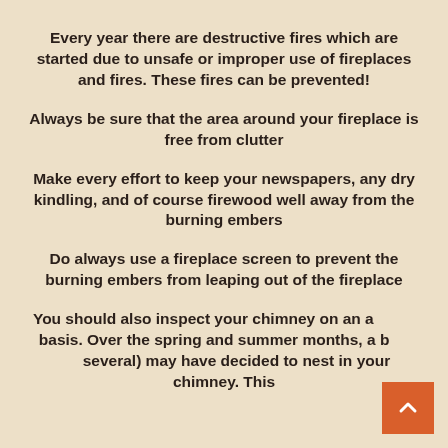Every year there are destructive fires which are started due to unsafe or improper use of fireplaces and fires. These fires can be prevented!
Always be sure that the area around your fireplace is free from clutter
Make every effort to keep your newspapers, any dry kindling, and of course firewood well away from the burning embers
Do always use a fireplace screen to prevent the burning embers from leaping out of the fireplace
You should also inspect your chimney on an annual basis. Over the spring and summer months, a bird (or several) may have decided to nest in your chimney. This